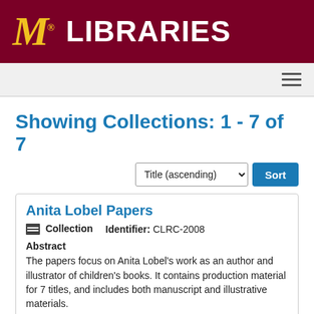[Figure (logo): University of Minnesota Libraries logo with gold M and white LIBRARIES text on dark red background]
Navigation bar with hamburger menu
Showing Collections: 1 - 7 of 7
Title (ascending) Sort
Anita Lobel Papers
Collection   Identifier: CLRC-2008
Abstract
The papers focus on Anita Lobel's work as an author and illustrator of children's books. It contains production material for 7 titles, and includes both manuscript and illustrative materials.
Dates: 1965 - 1969